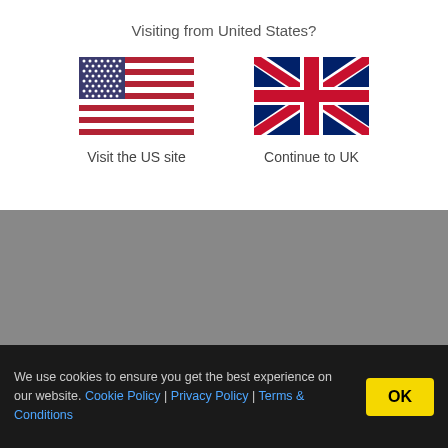Visiting from United States?
[Figure (illustration): US flag SVG]
Visit the US site
[Figure (illustration): UK flag SVG]
Continue to UK
[Figure (other): Gray background section]
We use cookies to ensure you get the best experience on our website. Cookie Policy | Privacy Policy | Terms & Conditions